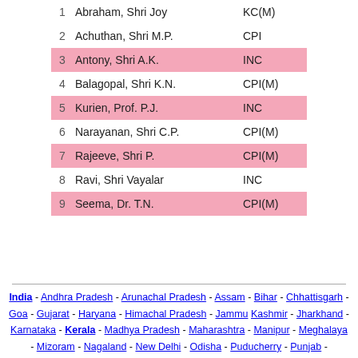| # | Name | Party |
| --- | --- | --- |
| 1 | Abraham, Shri Joy | KC(M) |
| 2 | Achuthan, Shri M.P. | CPI |
| 3 | Antony, Shri A.K. | INC |
| 4 | Balagopal, Shri K.N. | CPI(M) |
| 5 | Kurien, Prof. P.J. | INC |
| 6 | Narayanan, Shri C.P. | CPI(M) |
| 7 | Rajeeve, Shri P. | CPI(M) |
| 8 | Ravi, Shri Vayalar | INC |
| 9 | Seema, Dr. T.N. | CPI(M) |
India - Andhra Pradesh - Arunachal Pradesh - Assam - Bihar - Chhattisgarh - Goa - Gujarat - Haryana - Himachal Pradesh - Jammu Kashmir - Jharkhand - Karnataka - Kerala - Madhya Pradesh - Maharashtra - Manipur - Meghalaya - Mizoram - Nagaland - New Delhi - Odisha - Puducherry - Punjab - Rajasthan - Sikkim - Tamil Nadu - Tripura - Uttarakhand - Uttar Pradesh - West Bengal - Indian Search Engines